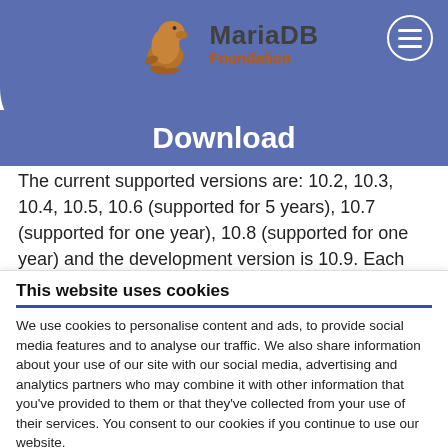[Figure (logo): MariaDB Foundation logo with seal/sea lion graphic and text 'MariaDB Foundation']
Download
The current supported versions are: 10.2, 10.3, 10.4, 10.5, 10.6 (supported for 5 years), 10.7 (supported for one year), 10.8 (supported for one year) and the development version is 10.9. Each stable version
This website uses cookies
We use cookies to personalise content and ads, to provide social media features and to analyse our traffic. We also share information about your use of our site with our social media, advertising and analytics partners who may combine it with other information that you've provided to them or that they've collected from your use of their services. You consent to our cookies if you continue to use our website.
OK
| Necessary  Preferences  Statistics | Show details |
| Marketing |  |